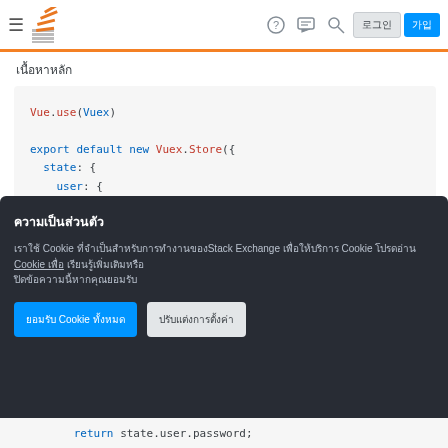Stack Overflow navigation bar with logo, icons, login and signup buttons
เนื้อหาหลัก
[Figure (screenshot): Code block showing Vue.js Vuex store setup with state object containing user properties: name, email, password, myWallet, uid]
ยอมรับ Cookie เราใช้คุกกี้ที่จำเป็นสำหรับStack Exchange เพื่อให้บริการ Cookie โปรดอ่าน Cookie เพื่อ เรียนรู้เพิ่มเติมหรือปิดข้อความนี้
ยอมรับ Cookie ทั้งหมด  ปรับแต่งการตั้งค่า